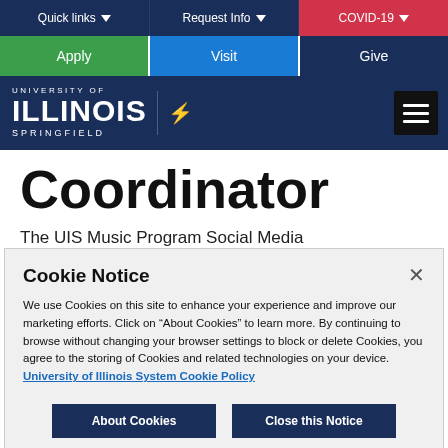Quick links | Request Info | COVID-19
Apply | Visit | Give
[Figure (logo): University of Illinois Springfield logo with hamburger menu icon]
Coordinator
The UIS Music Program Social Media
Cookie Notice
We use Cookies on this site to enhance your experience and improve our marketing efforts. Click on "About Cookies" to learn more. By continuing to browse without changing your browser settings to block or delete Cookies, you agree to the storing of Cookies and related technologies on your device.
University of Illinois System Cookie Policy
About Cookies | Close this Notice